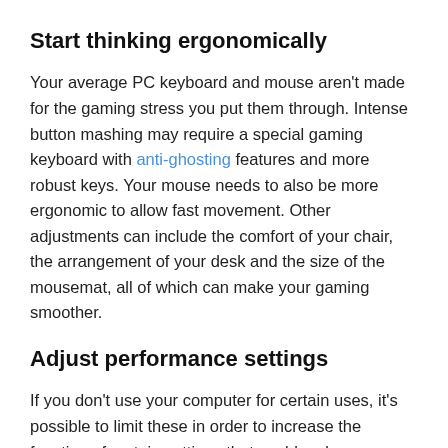Start thinking ergonomically
Your average PC keyboard and mouse aren't made for the gaming stress you put them through. Intense button mashing may require a special gaming keyboard with anti-ghosting features and more robust keys. Your mouse needs to also be more ergonomic to allow fast movement. Other adjustments can include the comfort of your chair, the arrangement of your desk and the size of the mousemat, all of which can make your gaming smoother.
Adjust performance settings
If you don't use your computer for certain uses, it's possible to limit these in order to increase the function of certain settings that could make your gaming experience better. There are all kinds of adjustments you can make from